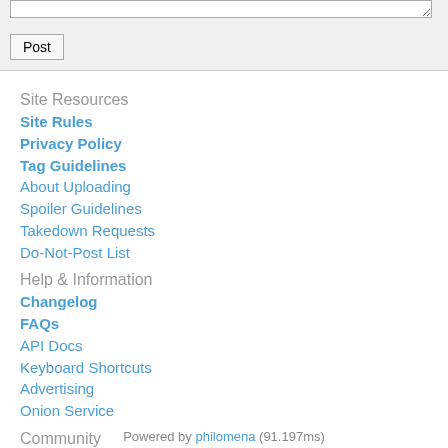[textarea input box]
Post
Site Resources
Site Rules
Privacy Policy
Tag Guidelines
About Uploading
Spoiler Guidelines
Takedown Requests
Do-Not-Post List
Help & Information
Changelog
FAQs
API Docs
Keyboard Shortcuts
Advertising
Onion Service
Community
Contact
Donations
Site Staff List
Statistics
About
Twitter
Powered by philomena (91.197ms)